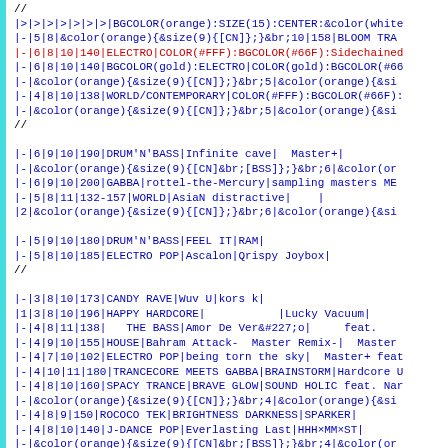Wiki markup source code showing table formatting syntax with pipe-delimited data rows including music chart entries with genres, BPM, and artist information.